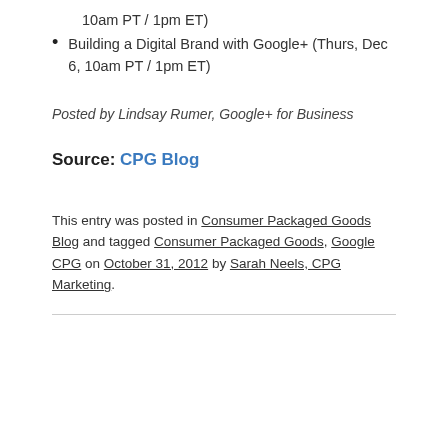10am PT / 1pm ET)
Building a Digital Brand with Google+ (Thurs, Dec 6, 10am PT / 1pm ET)
Posted by Lindsay Rumer, Google+ for Business
Source: CPG Blog
This entry was posted in Consumer Packaged Goods Blog and tagged Consumer Packaged Goods, Google CPG on October 31, 2012 by Sarah Neels, CPG Marketing.